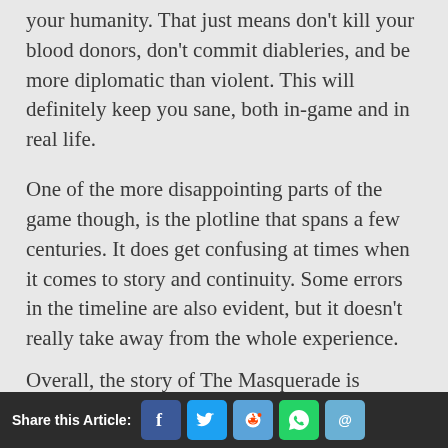your humanity. That just means don't kill your blood donors, don't commit diableries, and be more diplomatic than violent. This will definitely keep you sane, both in-game and in real life.
One of the more disappointing parts of the game though, is the plotline that spans a few centuries. It does get confusing at times when it comes to story and continuity. Some errors in the timeline are also evident, but it doesn't really take away from the whole experience.
Share this Article: